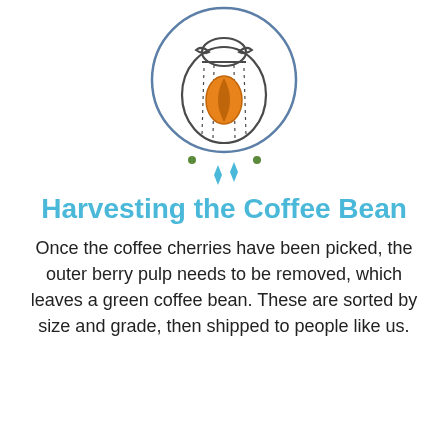[Figure (illustration): A circular line-art illustration of a burlap sack of coffee beans with an orange coffee bean icon on the front, surrounded by small green dots and teal diamond sparkle shapes below the circle.]
Harvesting the Coffee Bean
Once the coffee cherries have been picked, the outer berry pulp needs to be removed, which leaves a green coffee bean. These are sorted by size and grade, then shipped to people like us.